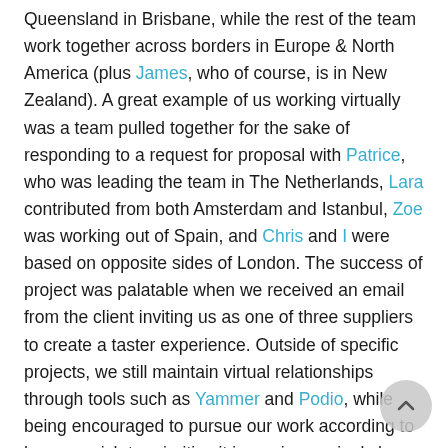Queensland in Brisbane, while the rest of the team work together across borders in Europe & North America (plus James, who of course, is in New Zealand). A great example of us working virtually was a team pulled together for the sake of responding to a request for proposal with Patrice, who was leading the team in The Netherlands, Lara contributed from both Amsterdam and Istanbul, Zoe was working out of Spain, and Chris and I were based on opposite sides of London. The success of project was palatable when we received an email from the client inviting us as one of three suppliers to create a taster experience. Outside of specific projects, we still maintain virtual relationships through tools such as Yammer and Podio, while being encouraged to pursue our work according to how we wish to prioritise it in our increasingly busy lives. And moving out of our traditional office has encouraged us to invest more in those face-to-face practices which result in deep relationship-building within our team and our network, like our monthly learning community gathering, and social times together as a team.